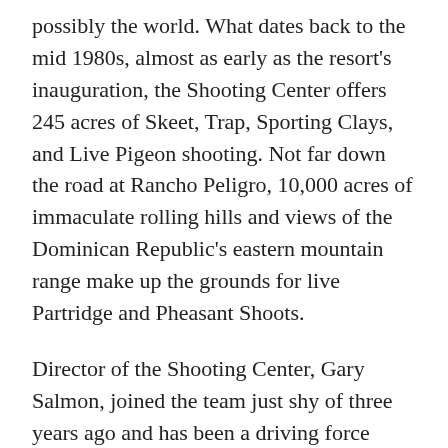possibly the world. What dates back to the mid 1980s, almost as early as the resort's inauguration, the Shooting Center offers 245 acres of Skeet, Trap, Sporting Clays, and Live Pigeon shooting. Not far down the road at Rancho Peligro, 10,000 acres of immaculate rolling hills and views of the Dominican Republic's eastern mountain range make up the grounds for live Partridge and Pheasant Shoots.
Director of the Shooting Center, Gary Salmon, joined the team just shy of three years ago and has been a driving force behind its continued enhancement. Hailing from England, Gary grew up assisting both his father and uncle at gamekeeping, and at the age of seventeen worked as a trainee keeper on The Queen of England's wild bird shoot at Sandringham. As a Beat Keeper in Suffolk for Lord Tollemache, he gained experience at rearing partridges, pheasants, and duck